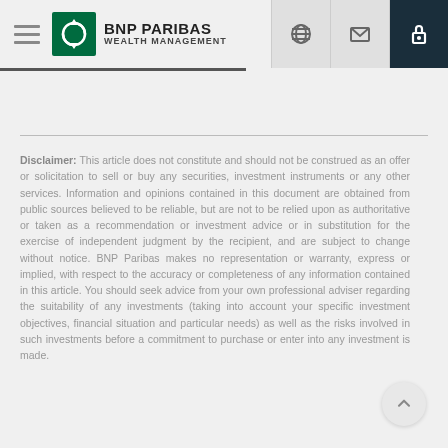BNP PARIBAS WEALTH MANAGEMENT
Disclaimer: This article does not constitute and should not be construed as an offer or solicitation to sell or buy any securities, investment instruments or any other services. Information and opinions contained in this document are obtained from public sources believed to be reliable, but are not to be relied upon as authoritative or taken as a recommendation or investment advice or in substitution for the exercise of independent judgment by the recipient, and are subject to change without notice. BNP Paribas makes no representation or warranty, express or implied, with respect to the accuracy or completeness of any information contained in this article. You should seek advice from your own professional adviser regarding the suitability of any investments (taking into account your specific investment objectives, financial situation and particular needs) as well as the risks involved in such investments before a commitment to purchase or enter into any investment is made.